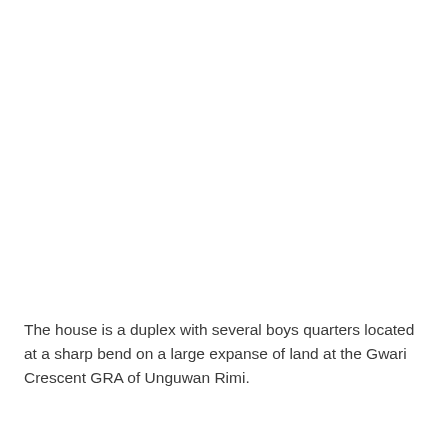The house is a duplex with several boys quarters located at a sharp bend on a large expanse of land at the Gwari Crescent GRA of Unguwan Rimi.